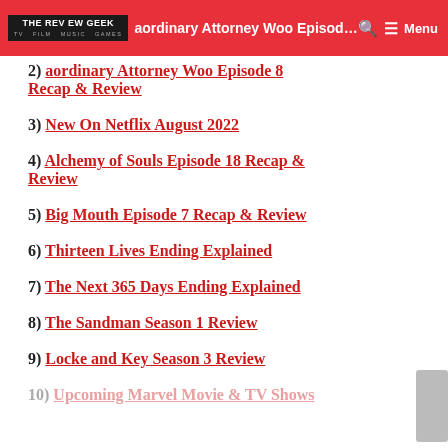Extraordinary Attorney Woo Episode 8 Recap & Review — The Review Geek
2) Extraordinary Attorney Woo Episode 8 Recap & Review
3) New On Netflix August 2022
4) Alchemy of Souls Episode 18 Recap & Review
5) Big Mouth Episode 7 Recap & Review
6) Thirteen Lives Ending Explained
7) The Next 365 Days Ending Explained
8) The Sandman Season 1 Review
9) Locke and Key Season 3 Review
10) Upcoming Marvel Movie & TV Shows